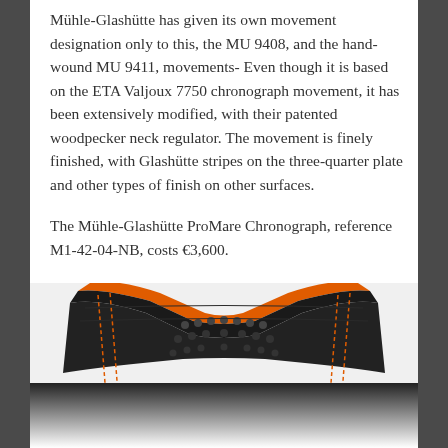Mühle-Glashütte has given its own movement designation only to this, the MU 9408, and the hand-wound MU 9411, movements- Even though it is based on the ETA Valjoux 7750 chronograph movement, it has been extensively modified, with their patented woodpecker neck regulator. The movement is finely finished, with Glashütte stripes on the three-quarter plate and other types of finish on other surfaces.
The Mühle-Glashütte ProMare Chronograph, reference M1-42-04-NB, costs €3,600.
[Figure (photo): Close-up photo of a watch strap — black perforated rubber/fabric strap with orange stitching and orange lining, with silver watch lugs visible at bottom center.]